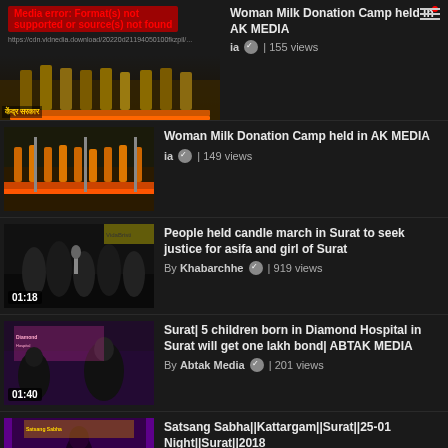[Figure (screenshot): Video list screenshot showing a media error on top video and three video thumbnails below. Top video shows media error overlay. Second video: Woman Milk Donation Camp held in AK MEDIA, 155 views. Third video: People held candle march in Surat, 01:18 duration, 919 views. Fourth video: Surat 5 children born in Diamond Hospital, 01:40 duration, 201 views. Fifth video: Satsang Sabha||Kattargam||Surat||25-01 Night||Surat||2018, 1:07:41 duration, 963 views. Partial sixth video at bottom.]